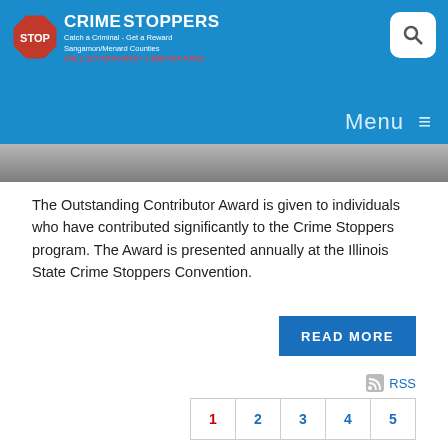Crime Stoppers - Catch a Criminal Get a Reward - Sangamon/Menard Counties - CALL 217-XXX-XXXX / 1-800-XXX-XXXX
[Figure (screenshot): Partial photo strip showing people in the background]
The Outstanding Contributor Award is given to individuals who have contributed significantly to the Crime Stoppers program. The Award is presented annually at the Illinois State Crime Stoppers Convention.
READ MORE
RSS
1 2 3 4 5
If you see a crime in progress or need to report an emergency, please call 911